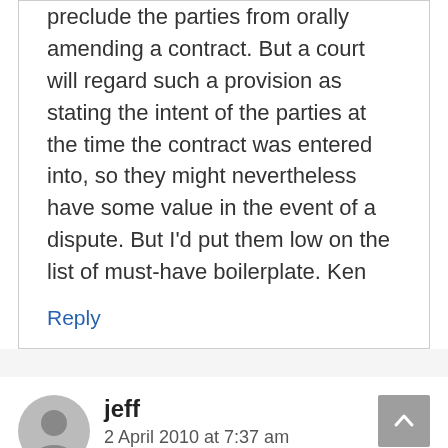preclude the parties from orally amending a contract. But a court will regard such a provision as stating the intent of the parties at the time the contract was entered into, so they might nevertheless have some value in the event of a dispute. But I'd put them low on the list of must-have boilerplate. Ken
Reply
jeff
2 April 2010 at 7:37 am